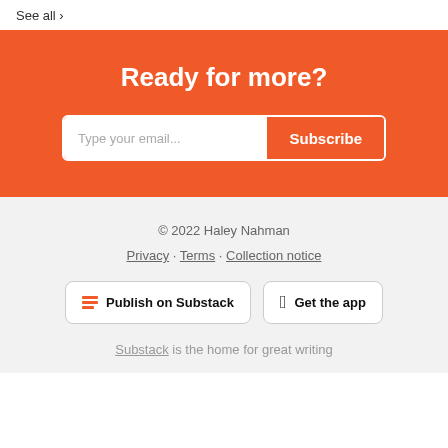See all ›
Ready for more?
Type your email... Subscribe
© 2022 Haley Nahman
Privacy · Terms · Collection notice
Publish on Substack
Get the app
Substack is the home for great writing